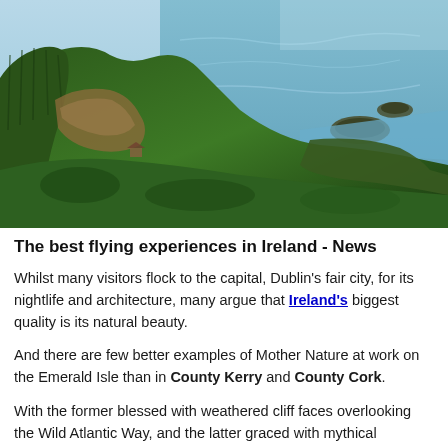[Figure (photo): Aerial photograph of dramatic green coastal cliffs with hexagonal basalt columns on the left, sloping down to a coastline with rocky outcroppings and blue-green sea water on the right. Likely the Giant's Causeway area in Northern Ireland.]
The best flying experiences in Ireland - News
Whilst many visitors flock to the capital, Dublin's fair city, for its nightlife and architecture, many argue that Ireland's biggest quality is its natural beauty.
And there are few better examples of Mother Nature at work on the Emerald Isle than in County Kerry and County Cork.
With the former blessed with weathered cliff faces overlooking the Wild Atlantic Way, and the latter graced with mythical countryside steeped in legend, these two regions boast an abundance of